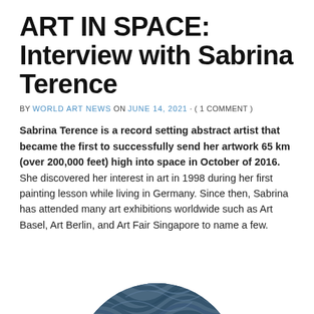ART IN SPACE: Interview with Sabrina Terence
BY WORLD ART NEWS ON JUNE 14, 2021 · ( 1 COMMENT )
Sabrina Terence is a record setting abstract artist that became the first to successfully send her artwork 65 km (over 200,000 feet) high into space in October of 2016. She discovered her interest in art in 1998 during her first painting lesson while living in Germany. Since then, Sabrina has attended many art exhibitions worldwide such as Art Basel, Art Berlin, and Art Fair Singapore to name a few.
[Figure (photo): Circular cropped portrait photo of a woman with long blue-grey wavy hair, viewed from above/behind, showing the top of the head and flowing hair against a dark blue background.]